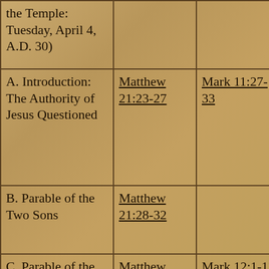| the Temple: Tuesday, April 4, A.D. 30) |  |  |  |
| A. Introduction: The Authority of Jesus Questioned | Matthew 21:23-27 | Mark 11:27-33 | Luke 20:1-8 |
| B. Parable of the Two Sons | Matthew 21:28-32 |  |  |
| C. Parable of the Wicked Tenants | Matthew 21:33-46 | Mark 12:1-12 | Luke 20:9-1… |